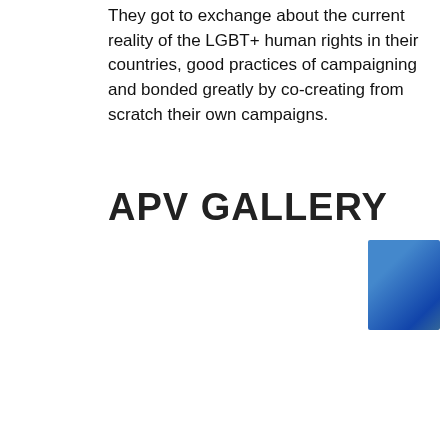They got to exchange about the current reality of the LGBT+ human rights in their countries, good practices of campaigning and bonded greatly by co-creating from scratch their own campaigns.
APV GALLERY
[Figure (photo): Gallery of photos from APV event showing participants in various workshop and outdoor activities, arranged in a grid of thumbnail images.]